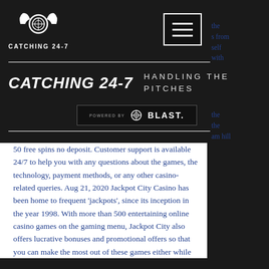[Figure (logo): Catching 24-7 logo with winged emblem and text CATCHING 24-7]
[Figure (other): Hamburger menu button (three horizontal lines) in dark square with white border]
CATCHING 24-7    HANDLING THE PITCHES
[Figure (logo): POWERED BY BLAST logo badge on dark background]
50 free spins no deposit. Customer support is available 24/7 to help you with any questions about the games, the technology, payment methods, or any other casino-related queries. Aug 21, 2020 Jackpot City Casino has been home to frequent 'jackpots', since its inception in the year 1998. With more than 500 entertaining online casino games on the gaming menu, Jackpot City also offers lucrative bonuses and promotional offers so that you can make the most out of these games either while
[Figure (photo): Black and white photo of a baseball catcher in action on right side of page]